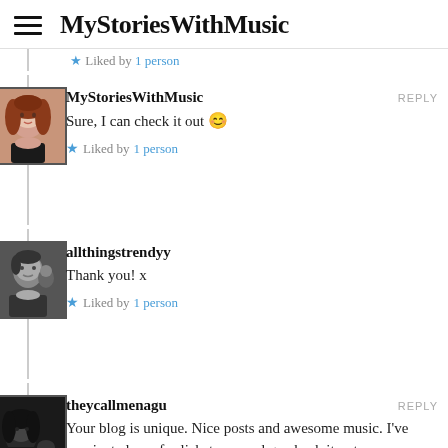MyStoriesWithMusic
Liked by 1 person
MyStoriesWithMusic
Sure, I can check it out 😊
REPLY
Liked by 1 person
allthingstrendyy
Thank you! x
Liked by 1 person
theycallmenagu
REPLY
Your blog is unique. Nice posts and awesome music. I've nominated you for liebster award go check it out